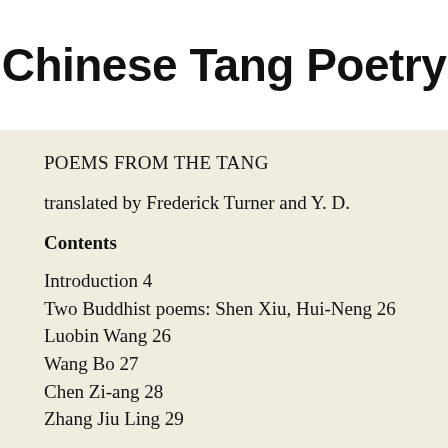Chinese Tang Poetry
POEMS FROM THE TANG
translated by Frederick Turner and Y. D.
Contents
Introduction 4
Two Buddhist poems: Shen Xiu, Hui-Neng 26
Luobin Wang 26
Wang Bo 27
Chen Zi-ang 28
Zhang Jiu Ling 29